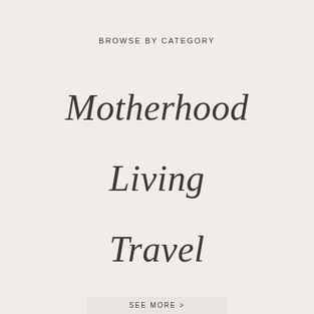BROWSE BY CATEGORY
Motherhood
Living
Travel
SEE MORE >